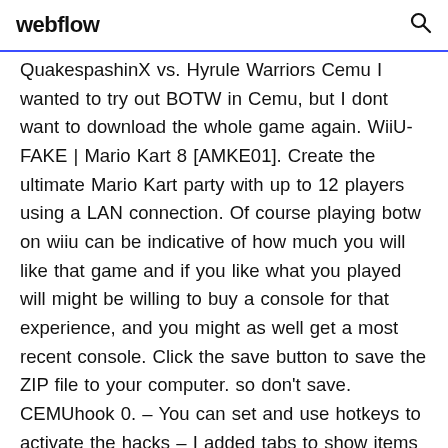webflow
QuakespashinX vs. Hyrule Warriors Cemu I wanted to try out BOTW in Cemu, but I dont want to download the whole game again. WiiU-FAKE | Mario Kart 8 [AMKE01]. Create the ultimate Mario Kart party with up to 12 players using a LAN connection. Of course playing botw on wiiu can be indicative of how much you will like that game and if you like what you played will might be willing to buy a console for that experience, and you might as well get a most recent console. Click the save button to save the ZIP file to your computer. so don't save. CEMUhook 0. – You can set and use hotkeys to activate the hacks – I added tabs to show items by category (Full inventory /